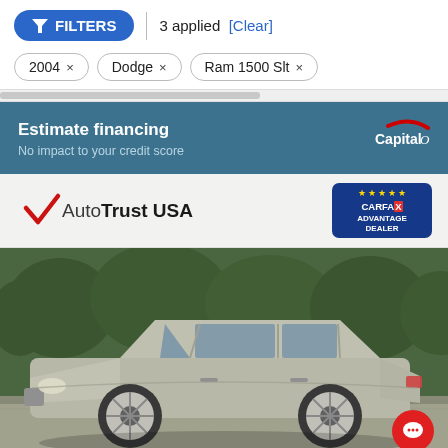FILTERS | 3 applied [Clear]
2004 × Dodge × Ram 1500 Slt ×
Estimate financing
No impact to your credit score
[Figure (logo): AutoTrust USA logo with CARFAX Advantage Dealer badge]
[Figure (photo): Silver Buick LaCrosse sedan parked in a lot with green trees in background, red chat bubble icon bottom right]